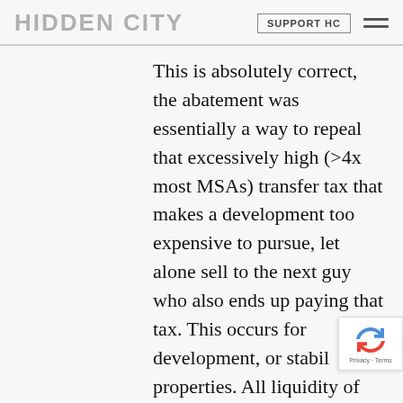HIDDEN CITY | SUPPORT HC
This is absolutely correct, the abatement was essentially a way to repeal that excessively high (>4x most MSAs) transfer tax that makes a development too expensive to pursue, let alone sell to the next guy who also ends up paying that tax. This occurs for development, or stabil properties. All liquidity of